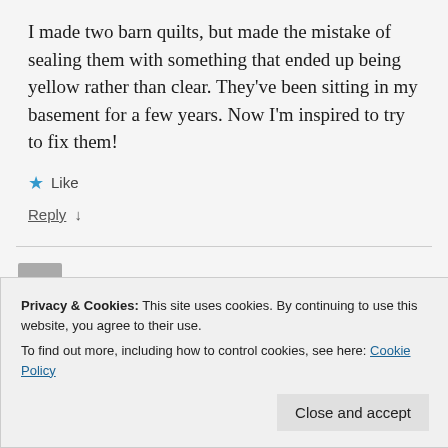I made two barn quilts, but made the mistake of sealing them with something that ended up being yellow rather than clear. They've been sitting in my basement for a few years. Now I'm inspired to try to fix them!
★ Like
Reply ↓
Leslie Schmidt
Privacy & Cookies: This site uses cookies. By continuing to use this website, you agree to their use.
To find out more, including how to control cookies, see here: Cookie Policy
Close and accept